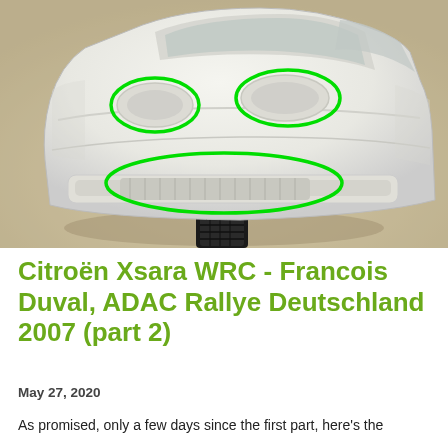[Figure (photo): White plastic model car body shell of a Citroën Xsara WRC, shown from front-left angle. Three green ellipses are drawn on the image highlighting the headlight areas and the front bumper/grille area.]
Citroën Xsara WRC - Francois Duval, ADAC Rallye Deutschland 2007 (part 2)
May 27, 2020
As promised, only a few days since the first part, here's the